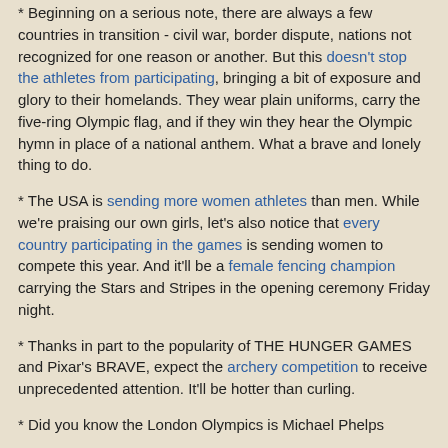* Beginning on a serious note, there are always a few countries in transition - civil war, border dispute, nations not recognized for one reason or another. But this doesn't stop the athletes from participating, bringing a bit of exposure and glory to their homelands. They wear plain uniforms, carry the five-ring Olympic flag, and if they win they hear the Olympic hymn in place of a national anthem. What a brave and lonely thing to do.
* The USA is sending more women athletes than men. While we're praising our own girls, let's also notice that every country participating in the games is sending women to compete this year. And it'll be a female fencing champion carrying the Stars and Stripes in the opening ceremony Friday night.
* Thanks in part to the popularity of THE HUNGER GAMES and Pixar's BRAVE, expect the archery competition to receive unprecedented attention. It'll be hotter than curling.
* Did you know the London Olympics is Michael Phelps...